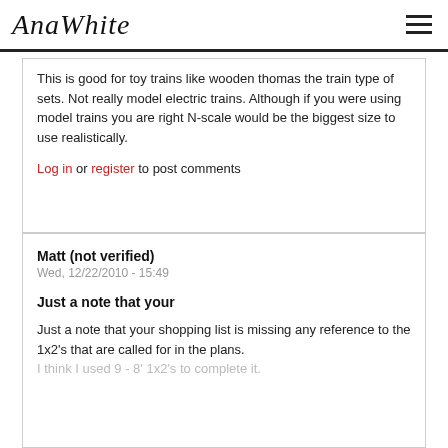AnaWhite
This is good for toy trains like wooden thomas the train type of sets. Not really model electric trains. Although if you were using model trains you are right N-scale would be the biggest size to use realistically.
Log in or register to post comments
Matt (not verified)
Wed, 12/22/2010 - 15:49
Just a note that your
Just a note that your shopping list is missing any reference to the 1x2's that are called for in the plans.
I think I used 9 - 8' 1x2's to complete it.